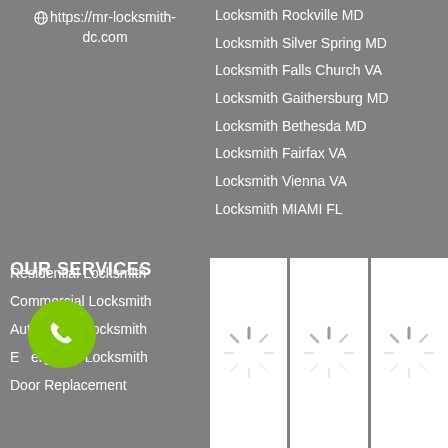https://mr-locksmith-dc.com
Locksmith Rockville MD
Locksmith Silver Spring MD
Locksmith Falls Church VA
Locksmith Gaithersburg MD
Locksmith Bethesda MD
Locksmith Fairfax VA
Locksmith Vienna VA
Locksmith MIAMI FL
OUR SERVICES
Residential Locksmith
Commercial Locksmith
Automotive Locksmith
Emergency Locksmith
Door Replacement
[Figure (other): Three white image placeholder panels with loading spinner icons]